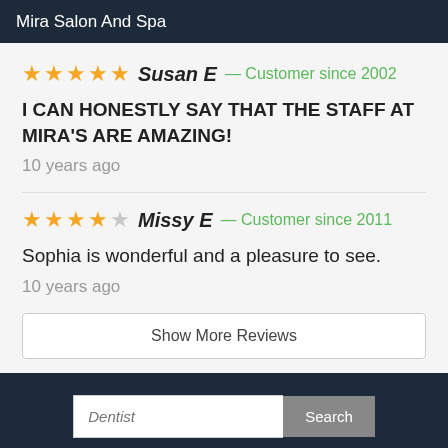Mira Salon And Spa
★★★★★ Susan E — Customer since 2002
I CAN HONESTLY SAY THAT THE STAFF AT MIRA'S ARE AMAZING!
10 years ago
★★★★☆ Missy E — Customer since 2011
Sophia is wonderful and a pleasure to see.
10 years ago
Show More Reviews